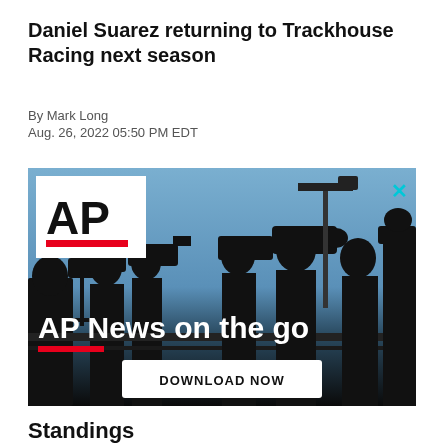Daniel Suarez returning to Trackhouse Racing next season
By Mark Long
Aug. 26, 2022 05:50 PM EDT
[Figure (photo): AP News advertisement showing silhouettes of camera operators against a blue sky backdrop with 'AP News on the go' text and a 'DOWNLOAD NOW' button. Features the AP logo in a white box in the top-left corner.]
Standings